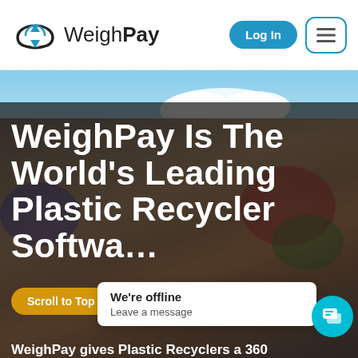[Figure (logo): WeighPay logo: cloud with recycling arrows icon and WeighPay wordmark]
Log In | Menu
[Figure (photo): Hero background: blue sky with clouds above a pile of colorful plastic recycling waste]
WeighPay Is The World's Leading Plastic Recycler Software
Scroll to Top
We're offline
Leave a message
WeighPay gives Plastic Recyclers a 360